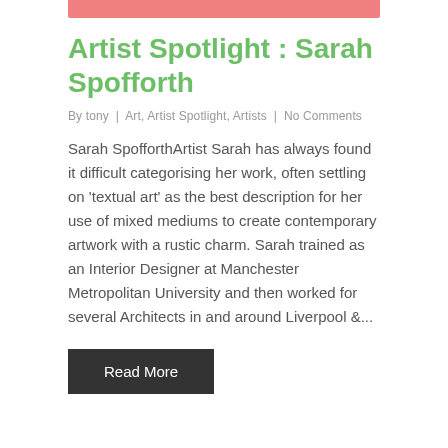Artist Spotlight : Sarah Spofforth
By tony  |  Art, Artist Spotlight, Artists  |  No Comments
Sarah SpofforthArtist Sarah has always found it difficult categorising her work, often settling on 'textual art' as the best description for her use of mixed mediums to create contemporary artwork with a rustic charm. Sarah trained as an Interior Designer at Manchester Metropolitan University and then worked for several Architects in and around Liverpool &...
Read More